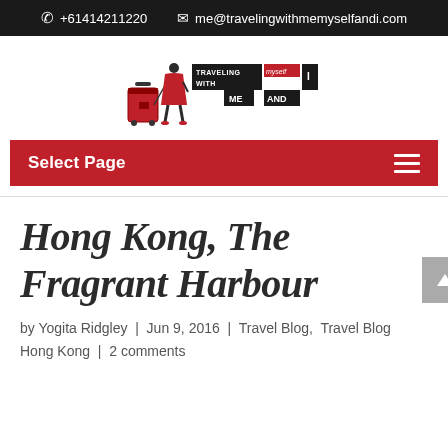✆ +61414211220   ✉ me@travelingwithmemyselfandi.com
[Figure (logo): Traveling With Me Myself And I blog logo — silhouette of woman pulling red suitcase with text logo blocks]
Select Page
Hong Kong, The Fragrant Harbour
by Yogita Ridgley | Jun 9, 2016 | Travel Blog, Travel Blog Hong Kong | 2 comments